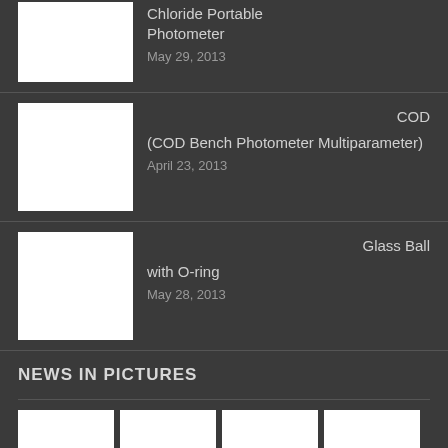Chloride Portable Photometer
May 29, 2013
COD (COD Bench Photometer Multiparameter)
April 23, 2013
Glass Ball with O-ring
May 28, 2013
NEWS IN PICTURES
[Figure (photo): Grid of 12 thumbnail images arranged in 3 rows of 4 columns, appearing as white rectangles on dark background]
[Figure (photo): Row 1 of photo grid: 4 white thumbnail images]
[Figure (photo): Row 2 of photo grid: 4 white thumbnail images]
[Figure (photo): Partial row 3 of photo grid: 4 white thumbnail images (partially visible)]